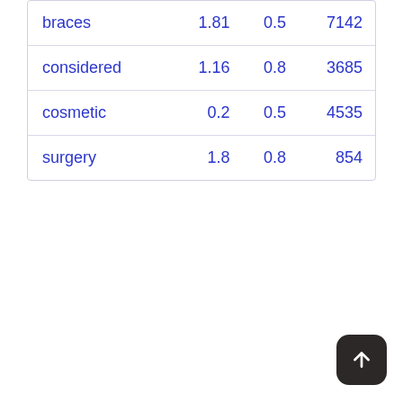| braces | 1.81 | 0.5 | 7142 |
| considered | 1.16 | 0.8 | 3685 |
| cosmetic | 0.2 | 0.5 | 4535 |
| surgery | 1.8 | 0.8 | 854 |